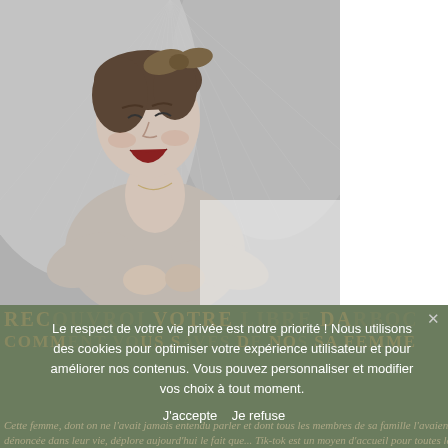[Figure (photo): Black and white vintage photograph of a smiling woman with a bow in her hair, wearing a knitted cardigan, posed against a glittering curtain background.]
Le respect de votre vie privée est notre priorité ! Nous utilisons des cookies pour optimiser votre expérience utilisateur et pour améliorer nos contenus. Vous pouvez personnaliser et modifier vos choix à tout moment.
J'accepte   Je refuse
Cette femme, dont on ne l'avait jamais entendu parler et dont tous les membres de sa famille l'avaient dénoncée dans leur vie, déplore aujourd'hui le fait que... Tik-tok est un moyen d'accueil pour toutes le